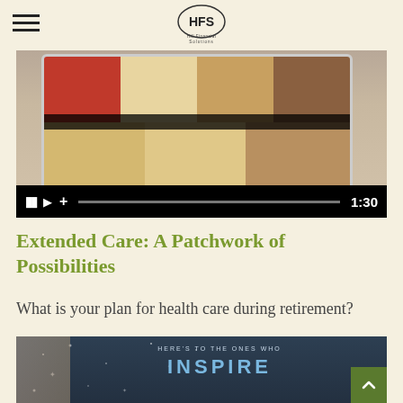HFS - Hill Financial Solutions
[Figure (screenshot): Video thumbnail showing a tablet with colorful patchwork/quilt image, with playback controls showing pause, play, plus buttons and progress bar with 1:30 timestamp]
Extended Care: A Patchwork of Possibilities
What is your plan for health care during retirement?
[Figure (screenshot): Dark blue image showing text 'HERE'S TO THE ONES WHO INSPIRE' with a back-to-top green button with chevron/arrow]